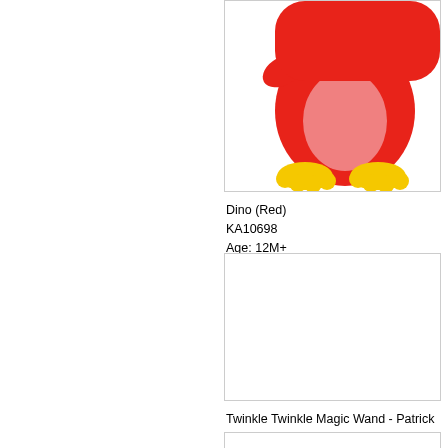[Figure (photo): Red dinosaur toy figure showing lower body with yellow feet, cropped at top. Dino (Red) product image.]
Dino (Red)
KA10698
Age: 12M+
[Figure (photo): Empty white product image box for Twinkle Twinkle Magic Wand - Patrick toy.]
Twinkle Twinkle Magic Wand - Patrick
KA10686
Age: 12M+
[Figure (photo): Partially visible product image box at bottom of page, cropped.]